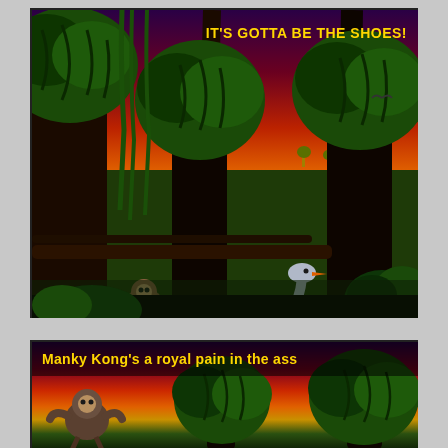[Figure (screenshot): Donkey Kong Country video game screenshot showing jungle scene with characters riding an ostrich/Rambi bird animal buddy on vines, with large green trees and purple/red/orange sunset sky background. Yellow text in upper right reads IT'S GOTTA BE THE SHOES!]
[Figure (screenshot): Second Donkey Kong Country screenshot showing jungle scene with green bulbous trees against red/orange sunset, with yellow caption text reading: Manky Kong's a royal pain in the ass]